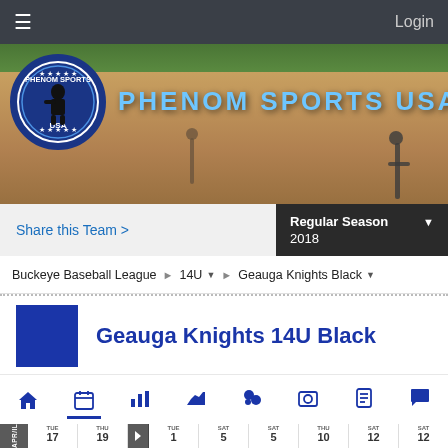Login
[Figure (photo): Phenom Sports USA banner with baseball field background, logo circle on left, and title text 'PHENOM SPORTS USA']
Share this Team >
Regular Season 2018
Buckeye Baseball League > 14U > Geauga Knights Black
Geauga Knights 14U Black
[Figure (infographic): Navigation icon bar with home, calendar, bar chart, area chart, trophy/balls, photo, document, and chat icons]
| TUE | THU |  | TUE | SAT | SAT | THU | SAT | SAT |
| --- | --- | --- | --- | --- | --- | --- | --- | --- |
| 17 | 19 |  | 1 | 5 | 5 | 10 | 12 | 12 |